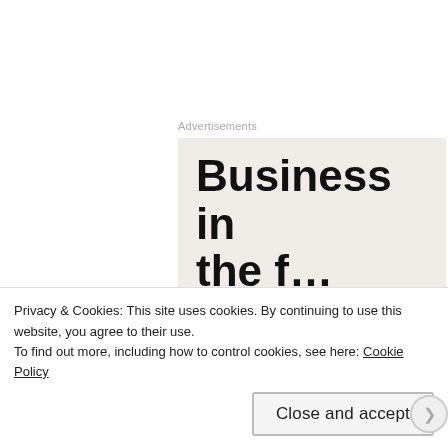Advertisements
[Figure (other): Advertisement banner with large bold text reading 'Business in the f...' on a light beige/grey background, partially cut off]
blahblahsingh
DECEMBER 2, 2014 AT 6:56 AM
Privacy & Cookies: This site uses cookies. By continuing to use this website, you agree to their use.
To find out more, including how to control cookies, see here: Cookie Policy
Close and accept